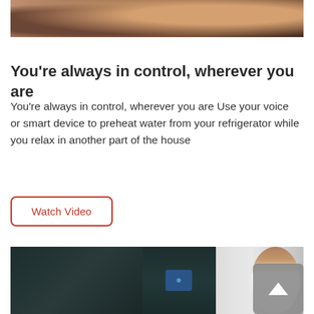[Figure (photo): Partial view of a person at the top of the page, cropped image showing a kitchen or home scene]
You're always in control, wherever you are
You're always in control, wherever you are Use your voice or smart device to preheat water from your refrigerator while you relax in another part of the house
[Figure (other): Watch Video button with red border and red text on white background]
[Figure (photo): Bottom image showing a dark refrigerator with a digital display panel and a woman with curly hair standing beside it]